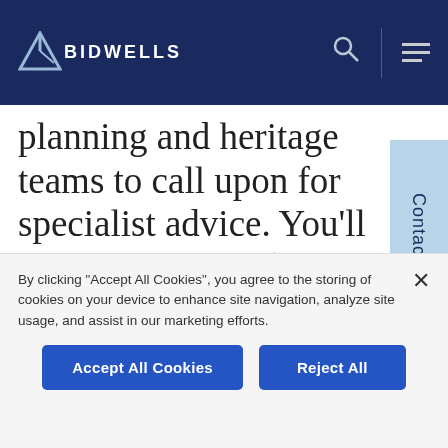[Figure (logo): Bidwells logo: triangle arrow icon with BIDWELLS text in white on dark navy header]
planning and heritage teams to call upon for specialist advice. You'll be well looked-after, with a dedicated agent on-call throughout the entire process. We continuously research and monitor data on homes, neighbourhoods, and macro-economics, building up
Contact
By clicking "Accept All Cookies", you agree to the storing of cookies on your device to enhance site navigation, analyze site usage, and assist in our marketing efforts.
Accept All Cookies
Reject All